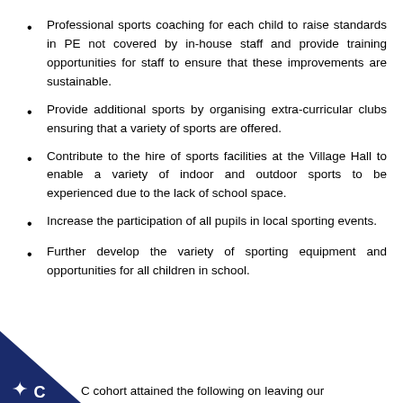Professional sports coaching for each child to raise standards in PE not covered by in-house staff and provide training opportunities for staff to ensure that these improvements are sustainable.
Provide additional sports by organising extra-curricular clubs ensuring that a variety of sports are offered.
Contribute to the hire of sports facilities at the Village Hall to enable a variety of indoor and outdoor sports to be experienced due to the lack of school space.
Increase the participation of all pupils in local sporting events.
Further develop the variety of sporting equipment and opportunities for all children in school.
C cohort attained the following on leaving our